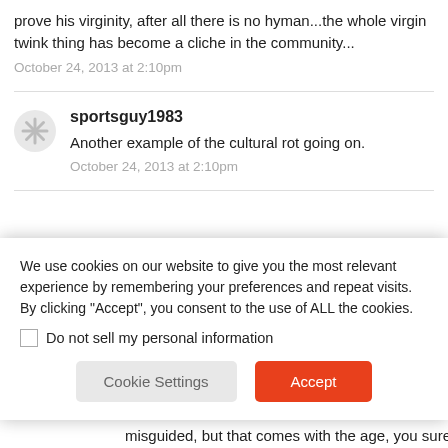prove his virginity, after all there is no hyman...the whole virgin twink thing has become a cliche in the community...
October 24, 2013 at 2:10pm
sportsguy1983
Another example of the cultural rot going on.
October 24, 2013 at 2:10pm
We use cookies on our website to give you the most relevant experience by remembering your preferences and repeat visits. By clicking “Accept”, you consent to the use of ALL the cookies.
Do not sell my personal information
Cookie Settings
Accept
misguided, but that comes with the age, you sure